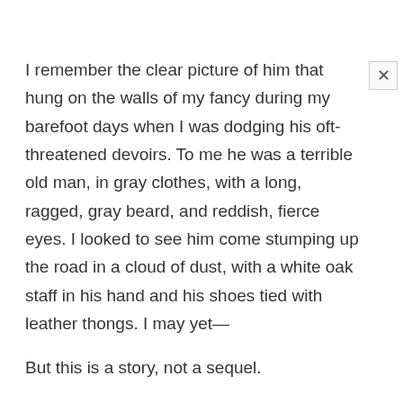I remember the clear picture of him that hung on the walls of my fancy during my barefoot days when I was dodging his oft-threatened devoirs. To me he was a terrible old man, in gray clothes, with a long, ragged, gray beard, and reddish, fierce eyes. I looked to see him come stumping up the road in a cloud of dust, with a white oak staff in his hand and his shoes tied with leather thongs. I may yet—
But this is a story, not a sequel.
I have taken notice with regret, that few stories worth